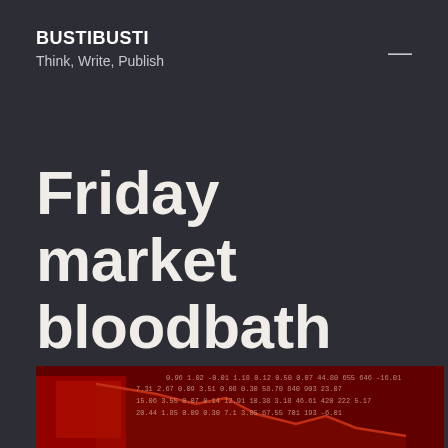BUSTIBUSTI
Think, Write, Publish
Friday market bloodbath (sighs, yes, again)
[Figure (photo): Stock market ticker board showing red numbers and a declining price chart line against a dark red background, indicating market losses.]